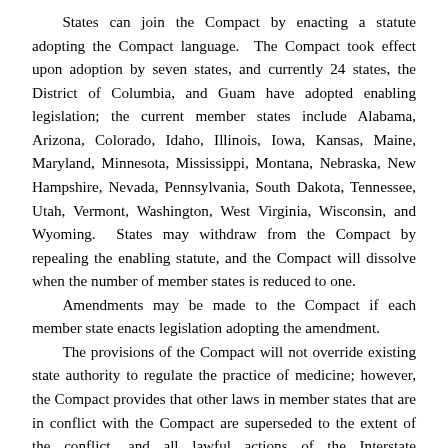States can join the Compact by enacting a statute adopting the Compact language. The Compact took effect upon adoption by seven states, and currently 24 states, the District of Columbia, and Guam have adopted enabling legislation; the current member states include Alabama, Arizona, Colorado, Idaho, Illinois, Iowa, Kansas, Maine, Maryland, Minnesota, Mississippi, Montana, Nebraska, New Hampshire, Nevada, Pennsylvania, South Dakota, Tennessee, Utah, Vermont, Washington, West Virginia, Wisconsin, and Wyoming. States may withdraw from the Compact by repealing the enabling statute, and the Compact will dissolve when the number of member states is reduced to one.
Amendments may be made to the Compact if each member state enacts legislation adopting the amendment.
The provisions of the Compact will not override existing state authority to regulate the practice of medicine; however, the Compact provides that other laws in member states that are in conflict with the Compact are superseded to the extent of the conflict, and all lawful actions of the Interstate Commission are